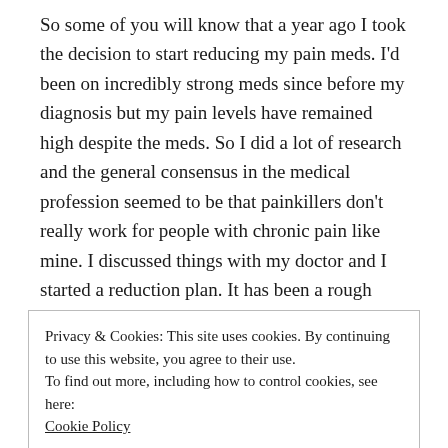So some of you will know that a year ago I took the decision to start reducing my pain meds. I'd been on incredibly strong meds since before my diagnosis but my pain levels have remained high despite the meds. So I did a lot of research and the general consensus in the medical profession seemed to be that painkillers don't really work for people with chronic pain like mine. I discussed things with my doctor and I started a reduction plan. It has been a rough year as every time I reduced I had a period of feeling very unwell with pain throughout my body but it would eventually settle
Privacy & Cookies: This site uses cookies. By continuing to use this website, you agree to their use.
To find out more, including how to control cookies, see here: Cookie Policy
Close and accept